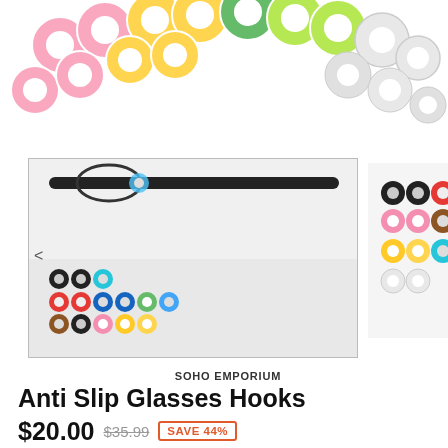[Figure (photo): Colorful silicone ring donuts arranged in a row at the top — pink, yellow, green, lime green, white and various colors scattered.]
[Figure (photo): Three product images showing anti-slip glasses hook silicone rings in multiple colors, displayed as thumbnails with left and right navigation arrows.]
SOHO EMPORIUM
Anti Slip Glasses Hooks
$20.00  $35.99  SAVE 44%
Color  White